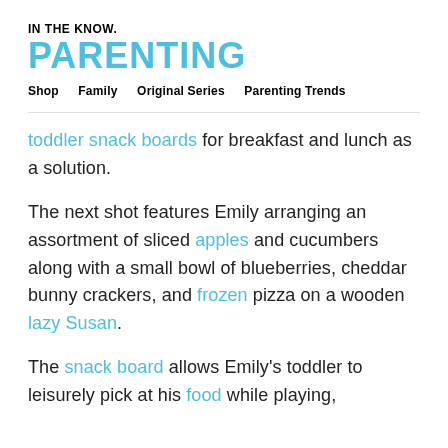IN THE KNOW. PARENTING
Shop  Family  Original Series  Parenting Trends
toddler snack boards for breakfast and lunch as a solution.
The next shot features Emily arranging an assortment of sliced apples and cucumbers along with a small bowl of blueberries, cheddar bunny crackers, and frozen pizza on a wooden lazy Susan.
The snack board allows Emily's toddler to leisurely pick at his food while playing,